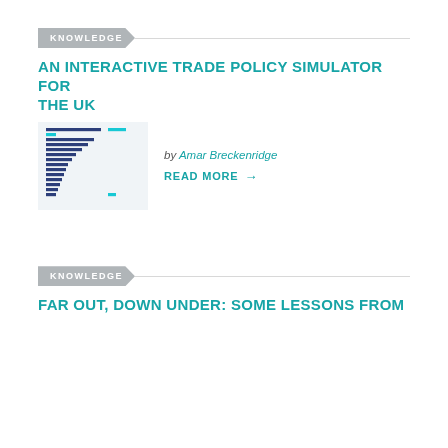KNOWLEDGE
AN INTERACTIVE TRADE POLICY SIMULATOR FOR THE UK
[Figure (bar-chart): Thumbnail bar chart showing horizontal bars in navy/teal colors representing trade policy data]
by Amar Breckenridge
READ MORE →
KNOWLEDGE
FAR OUT, DOWN UNDER: SOME LESSONS FROM